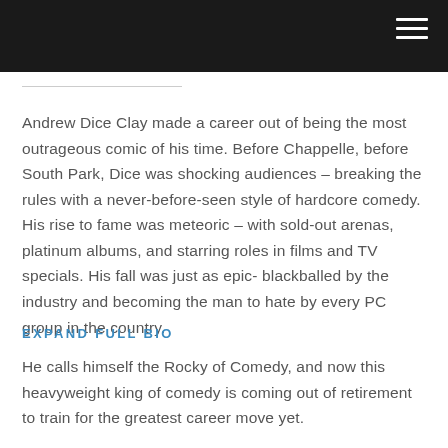Andrew Dice Clay made a career out of being the most outrageous comic of his time. Before Chappelle, before South Park, Dice was shocking audiences – breaking the rules with a never-before-seen style of hardcore comedy. His rise to fame was meteoric – with sold-out arenas, platinum albums, and starring roles in films and TV specials. His fall was just as epic- blackballed by the industry and becoming the man to hate by every PC group in the country.
EXPAND FULL BIO
He calls himself the Rocky of Comedy, and now this heavyweight king of comedy is coming out of retirement to train for the greatest career move yet.